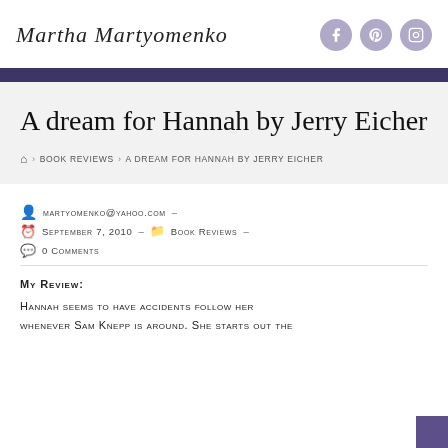Martha Martyomenko
A dream for Hannah by Jerry Eicher
Home › Book Reviews › A dream for Hannah by Jerry Eicher
martyomenko@yahoo.com –
September 7, 2010 – Book Reviews –
0 Comments
My Review:
Hannah seems to have accidents follow her whenever Sam Knepp is around. She starts out the